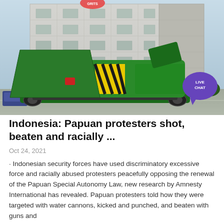[Figure (photo): A large green industrial machine (screener/crusher on tracks) parked in front of a large grey industrial building. The sky is overcast. A 'LIVE CHAT' speech bubble badge appears in the upper right corner of the image.]
Indonesia: Papuan protesters shot, beaten and racially ...
Oct 24, 2021
· Indonesian security forces have used discriminatory excessive force and racially abused protesters peacefully opposing the renewal of the Papuan Special Autonomy Law, new research by Amnesty International has revealed. Papuan protesters told how they were targeted with water cannons, kicked and punched, and beaten with guns and